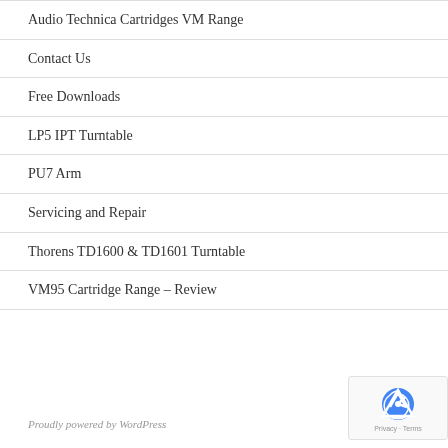Audio Technica Cartridges VM Range
Contact Us
Free Downloads
LP5 IPT Turntable
PU7 Arm
Servicing and Repair
Thorens TD1600 & TD1601 Turntable
VM95 Cartridge Range – Review
Proudly powered by WordPress